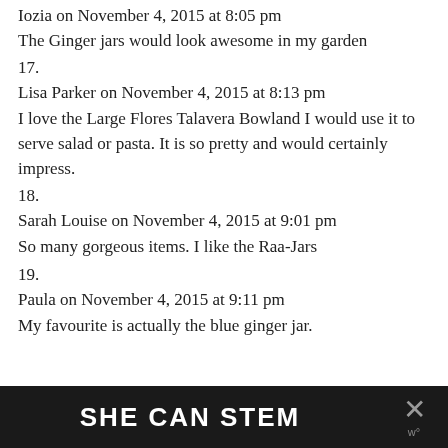Iozia on November 4, 2015 at 8:05 pm
The Ginger jars would look awesome in my garden
17.
Lisa Parker on November 4, 2015 at 8:13 pm
I love the Large Flores Talavera Bowland I would use it to serve salad or pasta. It is so pretty and would certainly impress.
18.
Sarah Louise on November 4, 2015 at 9:01 pm
So many gorgeous items. I like the Raa-Jars
19.
Paula on November 4, 2015 at 9:11 pm
My favourite is actually the blue ginger jar.
[Figure (other): SHE CAN STEM advertisement banner with close button]